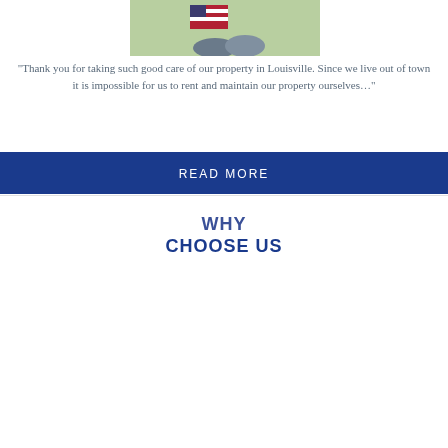[Figure (photo): People holding an American flag outdoors]
“Thank you for taking such good care of our property in Louisville. Since we live out of town it is impossible for us to rent and maintain our property ourselves…”
READ MORE
WHY CHOOSE US
[Figure (photo): A diverse group of smiling professionals meeting around a table]